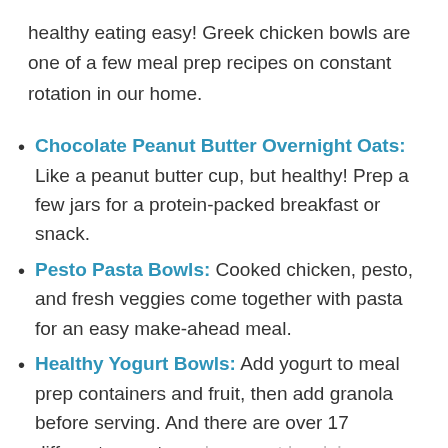healthy eating easy! Greek chicken bowls are one of a few meal prep recipes on constant rotation in our home.
Chocolate Peanut Butter Overnight Oats: Like a peanut butter cup, but healthy! Prep a few jars for a protein-packed breakfast or snack.
Pesto Pasta Bowls: Cooked chicken, pesto, and fresh veggies come together with pasta for an easy make-ahead meal.
Healthy Yogurt Bowls: Add yogurt to meal prep containers and fruit, then add granola before serving. And there are over 17 different ways to make yogurt bowls!
Make Ahead Chicken Quinoa Veg Bowl recipe